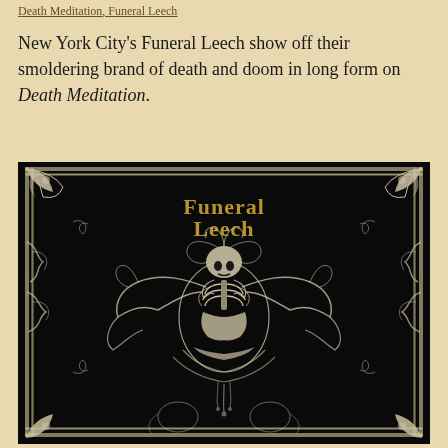Death Meditation, Funeral Leech
New York City's Funeral Leech show off their smoldering brand of death and doom in long form on Death Meditation.
[Figure (illustration): Album cover for Death Meditation by Funeral Leech. Black background with ornate white decorative border featuring baroque scrollwork and tentacle-like designs. Center features a skeletal figure in a meditation pose surrounded by intricate white filigree artwork. Band name 'Funeral Leech' displayed at top in gold/yellow gothic lettering.]